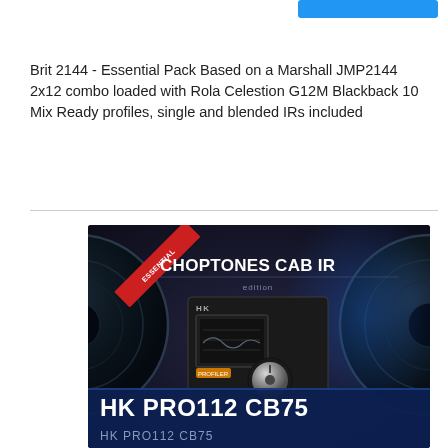[Figure (other): Blue button/banner element at top right corner]
Brit 2144 - Essential Pack Based on a Marshall JMP2144 2x12 combo loaded with Rola Celestion G12M Blackback 10 Mix Ready profiles, single and blended IRs included
[Figure (photo): Product box image for Choptones Cab IR HK PRO112 CB75 - dark box with speaker imagery, Essential ribbon badge, device hardware photo in center, showing an HK audio interface/profiler unit with knob]